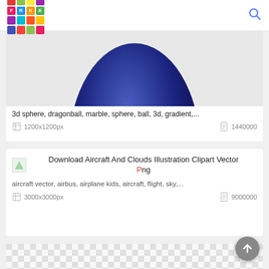FREE [logo grid] + search icon
[Figure (illustration): Partial view of a dark blue/purple 3D sphere shape cropped at top]
3d sphere, dragonball, marble, sphere, ball, 3d, gradient,...
1200x1200px    1440000
[Figure (illustration): Small thumbnail of aircraft and clouds illustration clipart]
Download Aircraft And Clouds Illustration Clipart Vector Png
aircraft vector, airbus, airplane kids, aircraft, flight, sky,...
3000x3000px    9000000
[Figure (illustration): Partial view of a third card showing checkerboard transparency pattern with a teal globe and airplane silhouette]